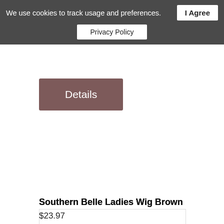We use cookies to track usage and preferences. I Agree Privacy Policy
Victorian White Lace Collar
$14.97
Details
[Figure (photo): Woman wearing a dark curly Victorian-style southern belle wig, dressed in a red off-shoulder dress, smiling at the camera.]
Southern Belle Ladies Wig Brown
$23.97